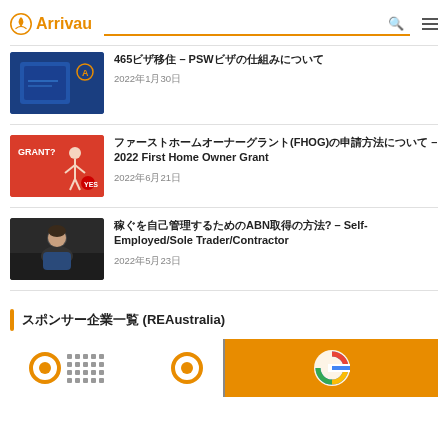Arrivau
465ビザ移住 – PSWビザの仕組みについて
2022年1月30日
ファーストホームオーナーグラント(FHOG)の申請方法について – 2022 First Home Owner Grant
2022年6月21日
稼ぐを自己管理するためのABN取得の方法? – Self-Employed/Sole Trader/Contractor
2022年5月23日
スポンサー企業一覧 (REAustralia)